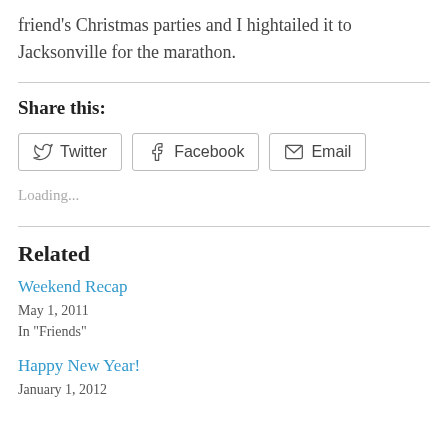friend's Christmas parties and I hightailed it to Jacksonville for the marathon.
Share this:
Loading...
Related
Weekend Recap
May 1, 2011
In "Friends"
Happy New Year!
January 1, 2012